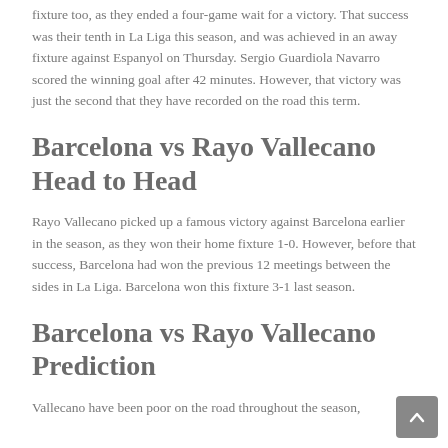fixture too, as they ended a four-game wait for a victory. That success was their tenth in La Liga this season, and was achieved in an away fixture against Espanyol on Thursday. Sergio Guardiola Navarro scored the winning goal after 42 minutes. However, that victory was just the second that they have recorded on the road this term.
Barcelona vs Rayo Vallecano Head to Head
Rayo Vallecano picked up a famous victory against Barcelona earlier in the season, as they won their home fixture 1-0. However, before that success, Barcelona had won the previous 12 meetings between the sides in La Liga. Barcelona won this fixture 3-1 last season.
Barcelona vs Rayo Vallecano Prediction
Vallecano have been poor on the road throughout the season,